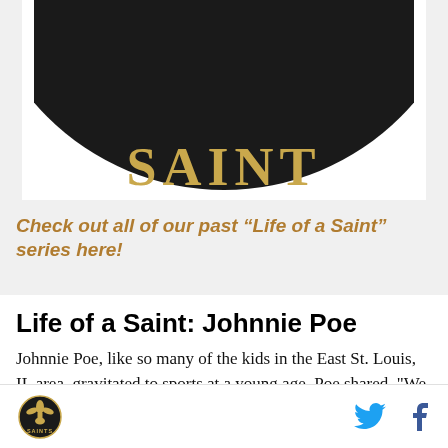[Figure (logo): New Orleans Saints 'Life of a Saint' series logo — circular black and gold Saints logo with text 'SAINT' across the bottom, partially cropped at top]
Check out all of our past “Life of a Saint” series here!
Life of a Saint: Johnnie Poe
Johnnie Poe, like so many of the kids in the East St. Louis, IL area, gravitated to sports at a young age. Poe shared, "We played street football. I was a receiver
Saints logo icon | Twitter share | Facebook share